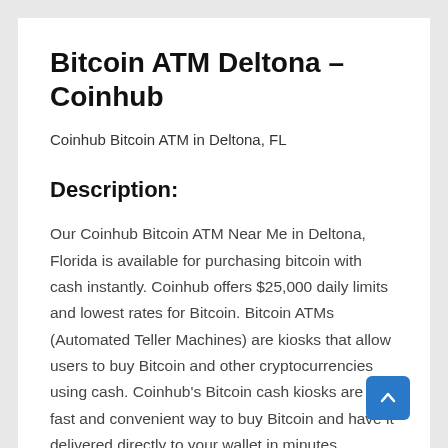Bitcoin ATM Deltona – Coinhub
Coinhub Bitcoin ATM in Deltona, FL
Description:
Our Coinhub Bitcoin ATM Near Me in Deltona, Florida is available for purchasing bitcoin with cash instantly. Coinhub offers $25,000 daily limits and lowest rates for Bitcoin. Bitcoin ATMs (Automated Teller Machines) are kiosks that allow users to buy Bitcoin and other cryptocurrencies using cash. Coinhub's Bitcoin cash kiosks are a fast and convenient way to buy Bitcoin and have it delivered directly to your wallet in minutes. Coinhub Bitcoin machines are easy to use and allow